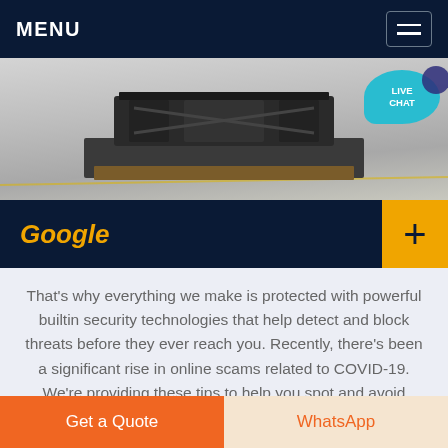MENU
[Figure (photo): Industrial machinery / heavy equipment on a warehouse floor, viewed from above-front angle. A 'LIVE CHAT' speech bubble overlay appears in the top-right corner of the image.]
Google
That's why everything we make is protected with powerful builtin security technologies that help detect and block threats before they ever reach you. Recently, there's been a significant rise in online scams related to COVID-19. We're providing these tips to help you spot and avoid these scams, so you can stay safer online. Common types of scams
Get a Quote   WhatsApp